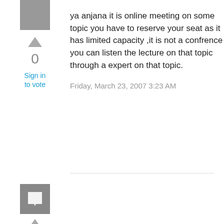[Figure (other): Gray avatar/user icon box at top left]
[Figure (other): Upward arrow vote button]
0
Sign in to vote
ya anjana it is online meeting on some topic you have to reserve your seat as it has limited capacity ,it is not a confrence you can listen the lecture on that topic through a expert on that topic.
Friday, March 23, 2007 3:23 AM
[Figure (other): Gray avatar icon box with speech bubble icon, second user]
[Figure (other): Upward arrow vote button, second]
0